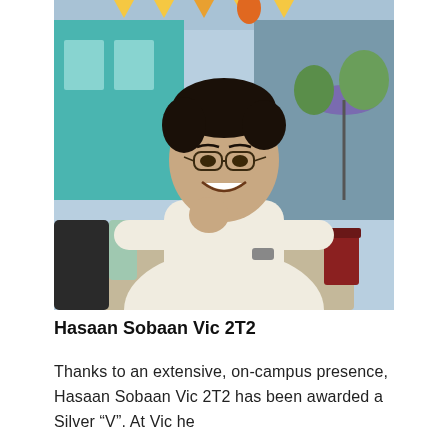[Figure (photo): A young man with glasses and curly dark hair, wearing a cream turtleneck sweater, smiling at an outdoor cafe table with a large blueberry pancake dish in front of him and drinks on the table. Outdoor patio setting with colorful decorations in the background.]
Hasaan Sobaan Vic 2T2
Thanks to an extensive, on-campus presence, Hasaan Sobaan Vic 2T2 has been awarded a Silver “V”. At Vic he